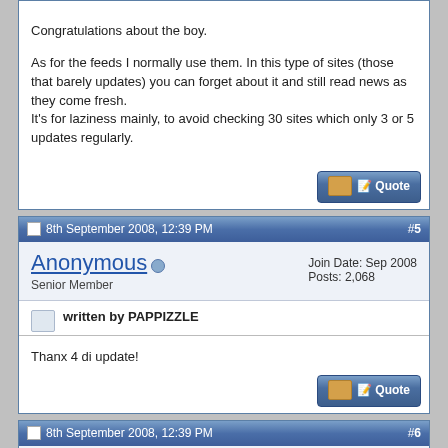Congratulations about the boy.

As for the feeds I normally use them. In this type of sites (those that barely updates) you can forget about it and still read news as they come fresh.
It's for laziness mainly, to avoid checking 30 sites which only 3 or 5 updates regularly.
8th September 2008, 12:39 PM  #5
Anonymous  Senior Member  Join Date: Sep 2008  Posts: 2,068
written by PAPPIZZLE
Thanx 4 di update!
8th September 2008, 12:39 PM  #6
Anonymous  Senior Member  Join Date: Sep 2008  Posts: 2,068
written by Anonymous
just found out about the feeds, suppose i may add it to my igoogle page which i just started useing (guess that's why i